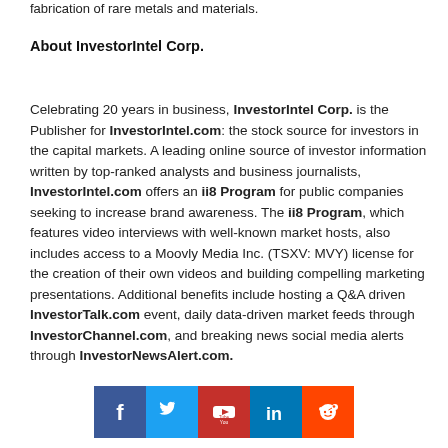fabrication of rare metals and materials.
About InvestorIntel Corp.
Celebrating 20 years in business, InvestorIntel Corp. is the Publisher for InvestorIntel.com: the stock source for investors in the capital markets. A leading online source of investor information written by top-ranked analysts and business journalists, InvestorIntel.com offers an ii8 Program for public companies seeking to increase brand awareness. The ii8 Program, which features video interviews with well-known market hosts, also includes access to a Moovly Media Inc. (TSXV: MVY) license for the creation of their own videos and building compelling marketing presentations. Additional benefits include hosting a Q&A driven InvestorTalk.com event, daily data-driven market feeds through InvestorChannel.com, and breaking news social media alerts through InvestorNewsAlert.com.
[Figure (infographic): Social media icons row: Facebook (blue), Twitter (blue), YouTube (red), LinkedIn (blue), Reddit (orange-red)]